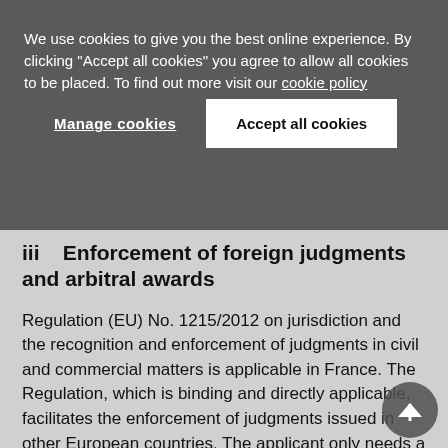We use cookies to give you the best online experience. By clicking "Accept all cookies" you agree to allow all cookies to be placed. To find out more visit our cookie policy
Manage cookies
Accept all cookies
iii   Enforcement of foreign judgments and arbitral awards
Regulation (EU) No. 1215/2012 on jurisdiction and the recognition and enforcement of judgments in civil and commercial matters is applicable in France. The Regulation, which is binding and directly applicable, facilitates the enforcement of judgments issued in other European countries. The applicant only needs a certificate issued by the court of origin using